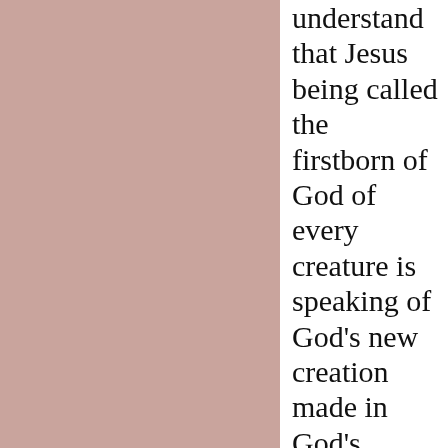understand that Jesus being called the firstborn of God of every creature is speaking of God's new creation made in God's perfect image of